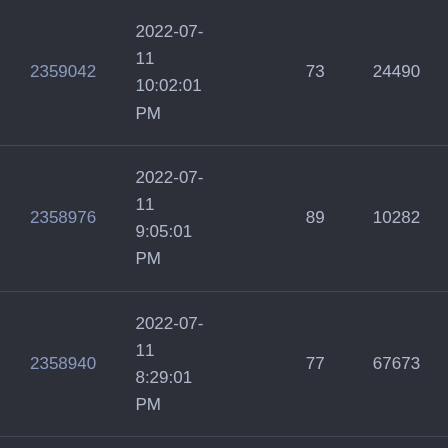| ID | DateTime | Val1 | Val2 |
| --- | --- | --- | --- |
| 2359042 | 2022-07-11 10:02:01 PM | 73 | 24490 |
| 2358976 | 2022-07-11 9:05:01 PM | 89 | 10282 |
| 2358940 | 2022-07-11 8:29:01 PM | 77 | 67673 |
| 2358680 | 2022-07-11 4:08:01 PM | 89 | 13612 |